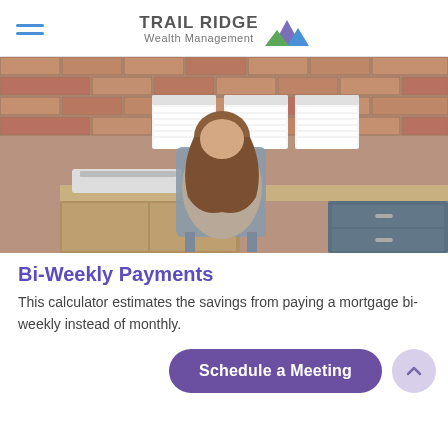TRAIL RIDGE Wealth Management
[Figure (photo): Person seen from behind sitting at a desk with a printer, calendars on a brick wall, and filing cabinets]
Bi-Weekly Payments
This calculator estimates the savings from paying a mortgage bi-weekly instead of monthly.
Schedule a Meeting